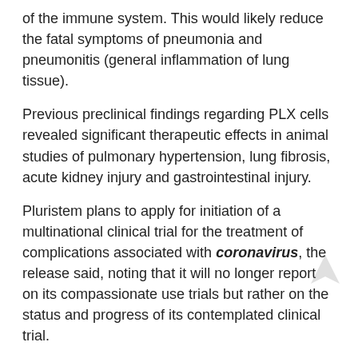of the immune system. This would likely reduce the fatal symptoms of pneumonia and pneumonitis (general inflammation of lung tissue).
Previous preclinical findings regarding PLX cells revealed significant therapeutic effects in animal studies of pulmonary hypertension, lung fibrosis, acute kidney injury and gastrointestinal injury.
Pluristem plans to apply for initiation of a multinational clinical trial for the treatment of complications associated with coronavirus, the release said, noting that it will no longer report on its compassionate use trials but rather on the status and progress of its contemplated clinical trial.
Click here for Full details
How to get update from Efficiencyview team